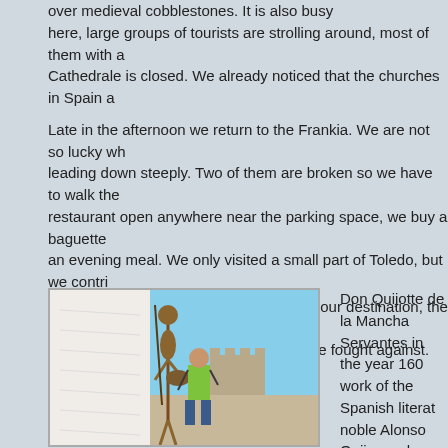over medieval cobblestones. It is also busy here, large groups of tourists are strolling around, most of them with a Cathedrale is closed. We already noticed that the churches in Spain a
Late in the afternoon we return to the Frankia. We are not so lucky wh leading down steeply. Two of them are broken so we have to walk the restaurant open anywhere near the parking space, we buy a baguette an evening meal. We only visited a small part of Toledo, but we contri November 9th. After an hour we arrive at our destination, the town of C above town are the mills that Don Quijotte fought against.
[Figure (photo): Person standing next to a Don Quijotte statue/sculpture beside a white windmill wall, with a castle visible in the background under a blue sky]
Don Quijotte de la Mancha Servantes in the year 160 work of the Spanish literat noble Alonso Quijano who many chivalric novels. He errant and as Don Quijotte around through the Spanis
He wears an old rusty arm gaunt peasant horse, he c he goes to war against all hopes to win the favor of a love, who is the idealizatio from a neighboring village